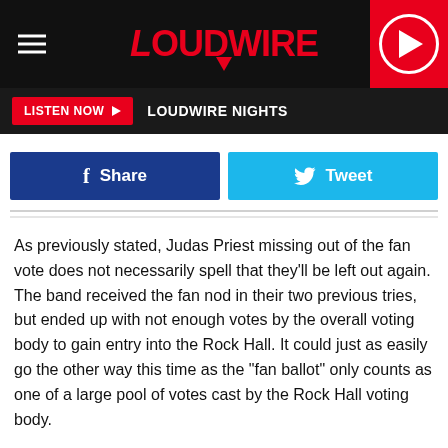LOUDWIRE
LISTEN NOW  LOUDWIRE NIGHTS
[Figure (screenshot): Facebook Share button and Twitter Tweet button]
As previously stated, Judas Priest missing out of the fan vote does not necessarily spell that they'll be left out again. The band received the fan nod in their two previous tries, but ended up with not enough votes by the overall voting body to gain entry into the Rock Hall. It could just as easily go the other way this time as the "fan ballot" only counts as one of a large pool of votes cast by the Rock Hall voting body.
One other hard rock band of interest, Rage Against the Machine, also came up well shy of the Top 5, grabbing